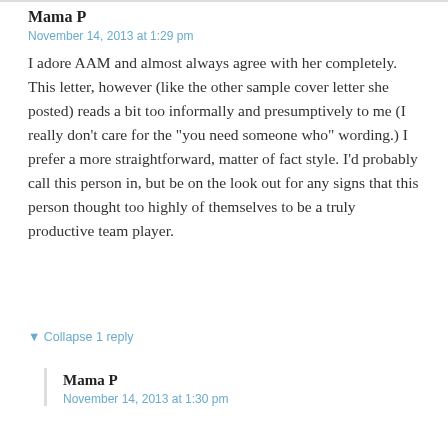Mama P
November 14, 2013 at 1:29 pm
I adore AAM and almost always agree with her completely. This letter, however (like the other sample cover letter she posted) reads a bit too informally and presumptively to me (I really don’t care for the “you need someone who” wording.) I prefer a more straightforward, matter of fact style. I’d probably call this person in, but be on the look out for any signs that this person thought too highly of themselves to be a truly productive team player.
▼ Collapse 1 reply
CLOSE
Mama P
November 14, 2013 at 1:30 pm